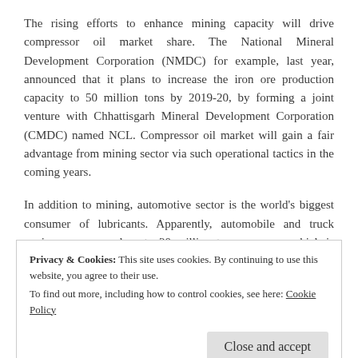The rising efforts to enhance mining capacity will drive compressor oil market share. The National Mineral Development Corporation (NMDC) for example, last year, announced that it plans to increase the iron ore production capacity to 50 million tons by 2019-20, by forming a joint venture with Chhattisgarh Mineral Development Corporation (CMDC) named NCL. Compressor oil market will gain a fair advantage from mining sector via such operational tactics in the coming years.
In addition to mining, automotive sector is the world's biggest consumer of lubricants. Apparently, automobile and truck engines consume close to 20 million tons per year, which is about half of total lubricant use. In 2018, approximately 95,706,293 motor vehicles
Privacy & Cookies: This site uses cookies. By continuing to use this website, you agree to their use.
To find out more, including how to control cookies, see here: Cookie Policy
Close and accept